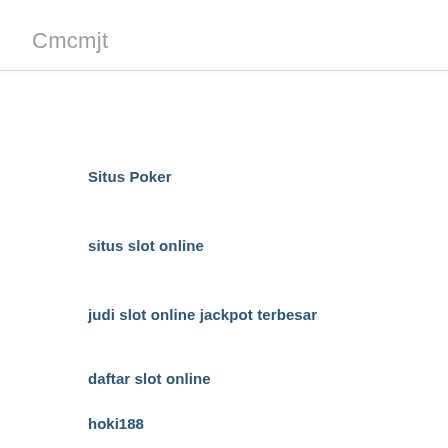Cmcmjt
Situs Poker
situs slot online
judi slot online jackpot terbesar
daftar slot online
hoki188
918kiss